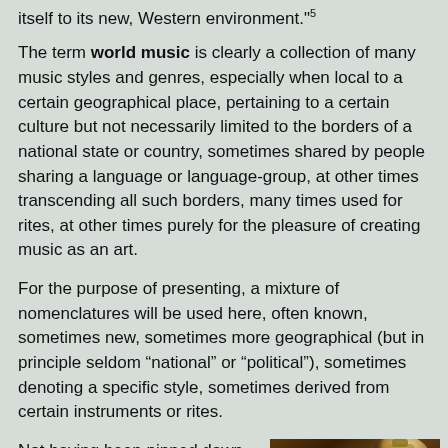itself to its new, Western environment.•5
The term world music is clearly a collection of many music styles and genres, especially when local to a certain geographical place, pertaining to a certain culture but not necessarily limited to the borders of a national state or country, sometimes shared by people sharing a language or language-group, at other times transcending all such borders, many times used for rites, at other times purely for the pleasure of creating music as an art.
For the purpose of presenting, a mixture of nomenclatures will be used here, often known, sometimes new, sometimes more geographical (but in principle seldom “national” or “political”), sometimes denoting a specific style, sometimes derived from certain instruments or rites.
Not having been pinned down fully, there is a pleasant openness to the term world music, there is room for discovery, room for investigation and contemporary development, allowing
[Figure (photo): Photo of an ornate stringed instrument (possibly a saz or similar traditional instrument) with decorative patterns, lit by a warm lamp, placed on a patterned rug or textile surface]